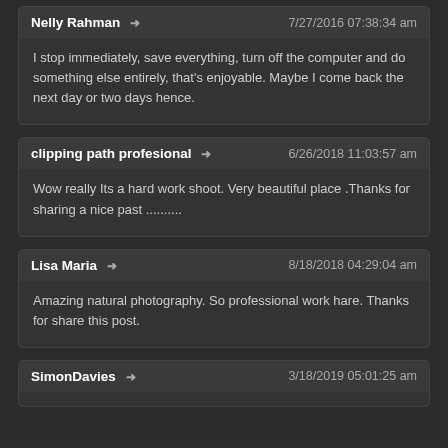Nelly Rahman → 7/27/2016 07:38:34 am
I stop immediately, save everything, turn off the computer and do something else entirely, that's enjoyable. Maybe I come back the next day or two days hence.
clipping path profesional → 6/26/2018 11:03:57 am
Wow really Its a hard work shoot. Very beautiful place .Thanks for sharing a nice past ..........
Lisa Maria → 8/18/2018 04:29:04 am
Amazing natural photography. So professional work hare. Thanks for share this post.
SimonDavies → 3/18/2019 05:01:25 am